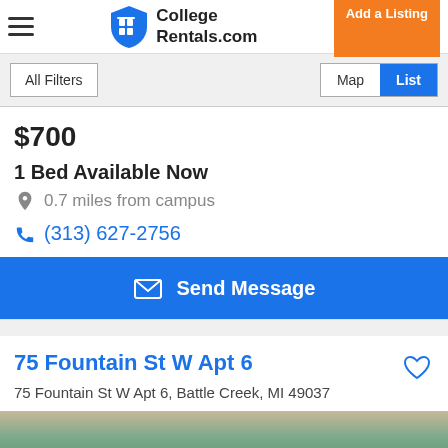College Rentals.com | Add a Listing
All Filters | Map | List
$700
1 Bed Available Now
0.7 miles from campus
(313) 627-2756
Send Message
75 Fountain St W Apt 6
75 Fountain St W Apt 6, Battle Creek, MI 49037